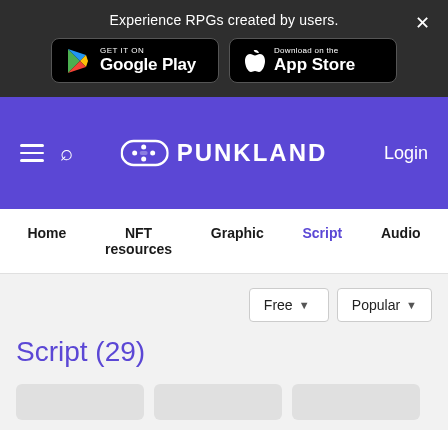Experience RPGs created by users.
[Figure (logo): GET IT ON Google Play store button]
[Figure (logo): Download on the App Store button]
[Figure (logo): Punkland logo with game controller icon in purple navigation bar]
Login
Home
NFT resources
Graphic
Script
Audio
Free
Popular
Script (29)